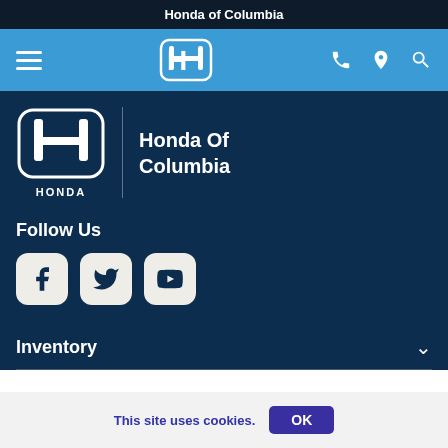Honda of Columbia
[Figure (logo): Honda navigation bar with hamburger menu, Honda logo, phone icon, location pin icon, and search icon on blue background]
[Figure (logo): Honda Of Columbia dealer logo with large Honda H emblem and HONDA wordmark, with dealer name 'Honda Of Columbia' on dark blue background]
Follow Us
[Figure (infographic): Social media icons: Facebook, Twitter, YouTube on dark blue background]
Inventory
This site uses cookies.
OK